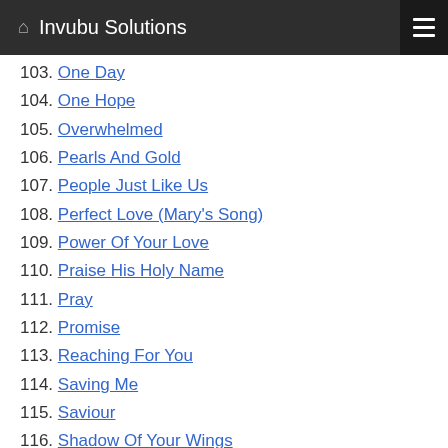Invubu Solutions
103. One Day
104. One Hope
105. Overwhelmed
106. Pearls And Gold
107. People Just Like Us
108. Perfect Love (Mary's Song)
109. Power Of Your Love
110. Praise His Holy Name
111. Pray
112. Promise
113. Reaching For You
114. Saving Me
115. Saviour
116. Shadow Of Your Wings
117. Shout To the Lord
118. Show Me Your Ways
119. Silent Night
120. Sing Of Your Great Love